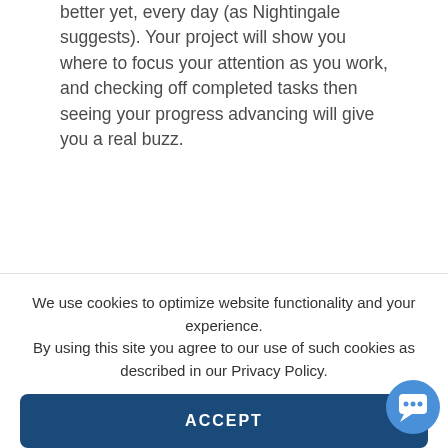better yet, every day (as Nightingale suggests). Your project will show you where to focus your attention as you work, and checking off completed tasks then seeing your progress advancing will give you a real buzz.
We use cookies to optimize website functionality and your experience. By using this site you agree to our use of such cookies as described in our Privacy Policy.
ACCEPT